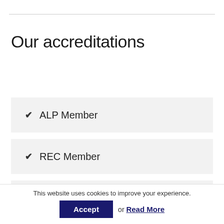Our accreditations
✔ ALP Member
✔ REC Member
✔ GLAA Licensed
This website uses cookies to improve your experience.
Accept or Read More